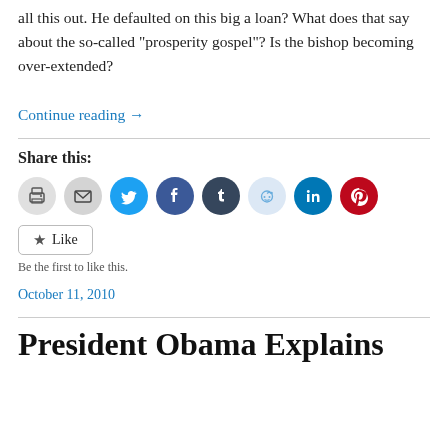all this out. He defaulted on this big a loan? What does that say about the so-called “prosperity gospel”? Is the bishop becoming over-extended?
Continue reading →
Share this:
[Figure (infographic): Row of social media share icon buttons: print (gray), email (gray), Twitter (light blue), Facebook (blue), Tumblr (dark navy), Reddit (light blue), LinkedIn (blue), Pinterest (red)]
Like
Be the first to like this.
October 11, 2010
President Obama Explains